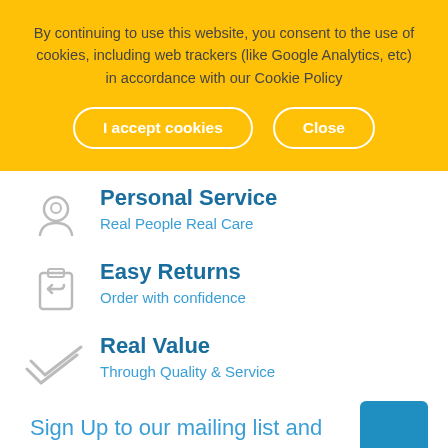By continuing to use this website, you consent to the use of cookies, including web trackers (like Google Analytics, etc) in accordance with our Cookie Policy
I accept cookies
Close
Personal Service
Real People Real Care
Easy Returns
Order with confidence
Real Value
Through Quality & Service
Sign Up to our mailing list and be among the first to know.